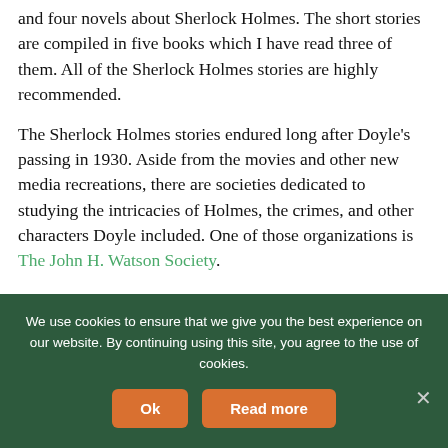and four novels about Sherlock Holmes. The short stories are compiled in five books which I have read three of them. All of the Sherlock Holmes stories are highly recommended.
The Sherlock Holmes stories endured long after Doyle's passing in 1930. Aside from the movies and other new media recreations, there are societies dedicated to studying the intricacies of Holmes, the crimes, and other characters Doyle included. One of those organizations is The John H. Watson Society.
We use cookies to ensure that we give you the best experience on our website. By continuing using this site, you agree to the use of cookies.